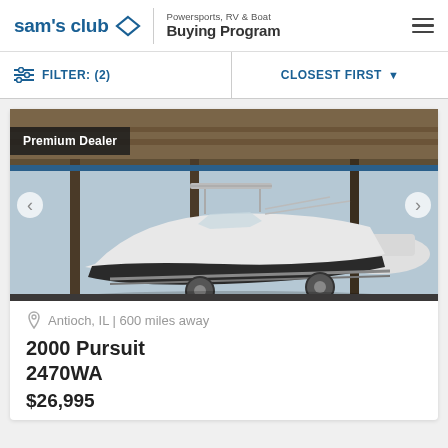[Figure (logo): Sam's Club logo with diamond icon and 'Powersports, RV & Boat Buying Program' text and hamburger menu]
FILTER: (2)   CLOSEST FIRST ▼
[Figure (photo): White boat on a trailer parked inside a covered storage area, with other boats visible nearby]
Premium Dealer
Antioch, IL | 600 miles away
2000 Pursuit
2470WA
$26,995